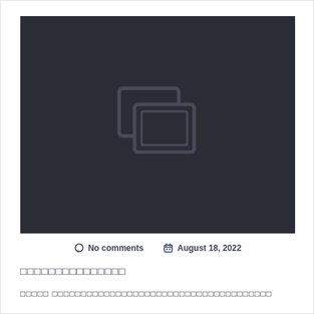[Figure (screenshot): Dark background image placeholder with a faint TV/monitor icon in the center]
No comments   August 18, 2022
□□□□□□□□□□□□□□□
□□□□□ □□□□□□□□□□□□□□□□□□□□□□□□□□□□□□□□□□□□□□